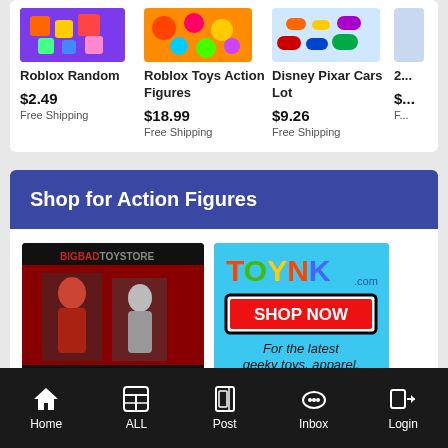[Figure (screenshot): Product listing showing Roblox Random ($2.49 Free Shipping), Roblox Toys Action Figures ($18.99 Free Shipping), Disney Pixar Cars Lot ($9.26 Free Shipping), and a partially visible fourth item]
Shop for Action Figures
[Figure (photo): BigBadToyStore advertisement showing NECA action figures]
[Figure (photo): Toynk.com SHOP NOW advertisement - For the latest geeky toys, apparel, & home goods.]
[Figure (photo): Partially visible HAFFY advertisement]
[Figure (photo): Partially visible Entertainment Earth advertisement]
Home   ALL   Post   Inbox   Login